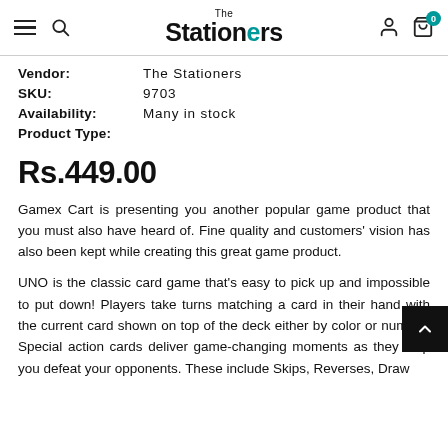The Stationers — navigation header with menu, search, account, and cart (0 items)
Vendor: The Stationers
SKU: 9703
Availability: Many in stock
Product Type:
Rs.449.00
Gamex Cart is presenting you another popular game product that you must also have heard of. Fine quality and customers' vision has also been kept while creating this great game product.
UNO is the classic card game that's easy to pick up and impossible to put down! Players take turns matching a card in their hand with the current card shown on top of the deck either by color or number. Special action cards deliver game-changing moments as they help you defeat your opponents. These include Skips, Reverses, Draw